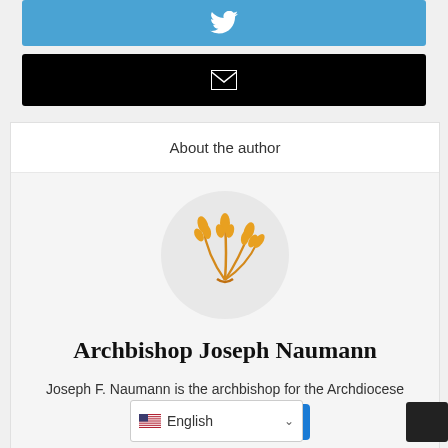[Figure (screenshot): Twitter share button bar in blue]
[Figure (screenshot): Email share button bar in black]
About the author
[Figure (illustration): Circular avatar with golden wheat sheaf illustration]
Archbishop Joseph Naumann
Joseph F. Naumann is the archbishop for the Archdiocese of Kansas City in Kansas.
View all p
English